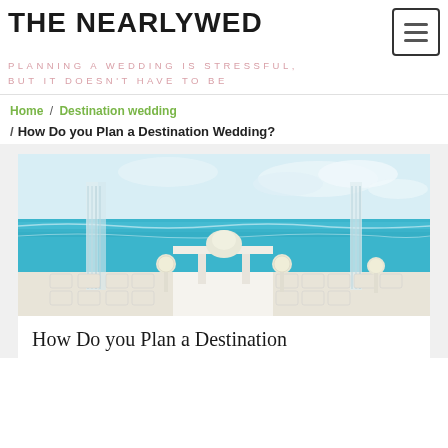THE NEARLYWED
PLANNING A WEDDING IS STRESSFUL, BUT IT DOESN'T HAVE TO BE
Home / Destination wedding / How Do you Plan a Destination Wedding?
[Figure (photo): Outdoor beach wedding ceremony setup with white chairs, floral ball decorations, crystal curtain backdrop, and turquoise ocean in background]
How Do you Plan a Destination